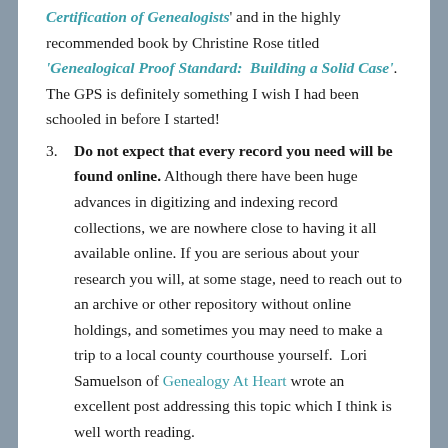Certification of Genealogists' and in the highly recommended book by Christine Rose titled 'Genealogical Proof Standard:  Building a Solid Case'. The GPS is definitely something I wish I had been schooled in before I started!
Do not expect that every record you need will be found online. Although there have been huge advances in digitizing and indexing record collections, we are nowhere close to having it all available online. If you are serious about your research you will, at some stage, need to reach out to an archive or other repository without online holdings, and sometimes you may need to make a trip to a local county courthouse yourself. Lori Samuelson of Genealogy At Heart wrote an excellent post addressing this topic which I think is well worth reading.